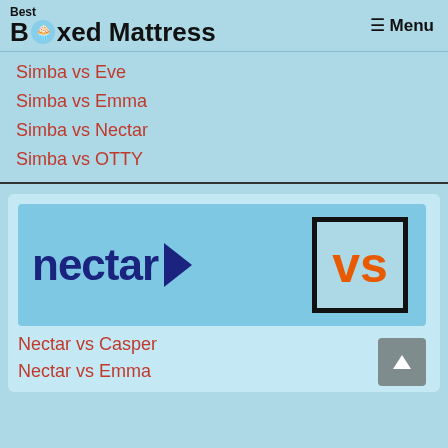Best Boxed Mattress — Menu
Simba vs Eve
Simba vs Emma
Simba vs Nectar
Simba vs OTTY
[Figure (logo): Nectar VS logo image: 'nectar' in dark blue bold text with a blue flag/pennant shape, and a bordered box with 'vs' in orange]
Nectar vs Casper
Nectar vs Emma